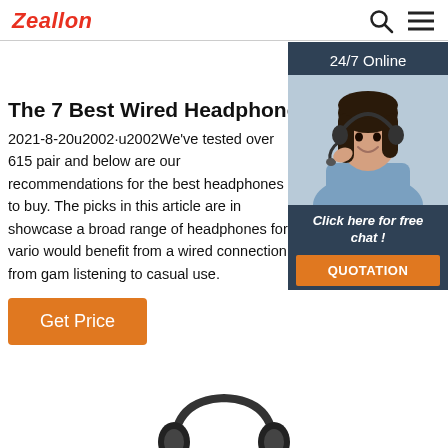Zeallon
The 7 Best Wired Headphones - Fall 2021: Re
2021-8-20u2002·u2002We've tested over 615 pair and below are our recommendations for the best headphones to buy. The picks in this article are in showcase a broad range of headphones for vario would benefit from a wired connection, from gam listening to casual use.
[Figure (photo): Woman wearing headset with 24/7 Online label and Click here for free chat / QUOTATION button overlay widget]
Get Price